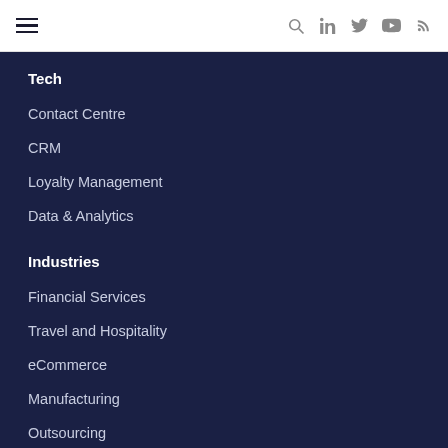Navigation menu with hamburger icon, search, linkedin, twitter, youtube, rss icons
Tech
Contact Centre
CRM
Loyalty Management
Data & Analytics
Industries
Financial Services
Travel and Hospitality
eCommerce
Manufacturing
Outsourcing